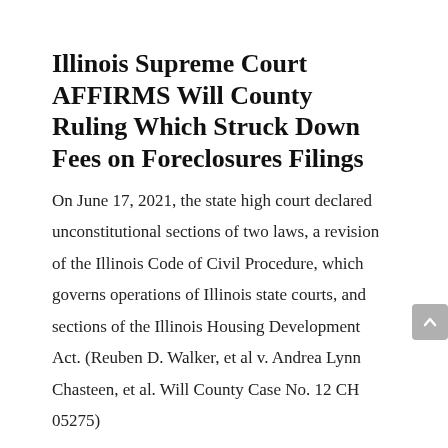Illinois Supreme Court AFFIRMS Will County Ruling Which Struck Down Fees on Foreclosures Filings
On June 17, 2021, the state high court declared unconstitutional sections of two laws, a revision of the Illinois Code of Civil Procedure, which governs operations of Illinois state courts, and sections of the Illinois Housing Development Act. (Reuben D. Walker, et al v. Andrea Lynn Chasteen, et al. Will County Case No. 12 CH 05275)
read more